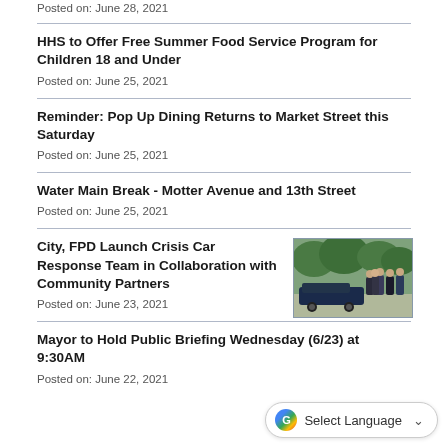Posted on: June 28, 2021
HHS to Offer Free Summer Food Service Program for Children 18 and Under
Posted on: June 25, 2021
Reminder: Pop Up Dining Returns to Market Street this Saturday
Posted on: June 25, 2021
Water Main Break - Motter Avenue and 13th Street
Posted on: June 25, 2021
City, FPD Launch Crisis Car Response Team in Collaboration with Community Partners
[Figure (photo): Group photo of city officials and police officers standing in front of a vehicle outdoors]
Posted on: June 23, 2021
Mayor to Hold Public Briefing Wednesday (6/23) at 9:30AM
Posted on: June 22, 2021